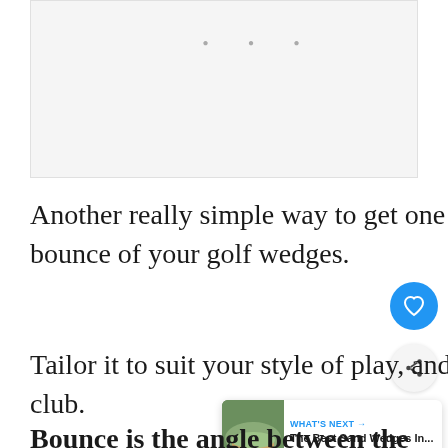[Figure (other): Advertisement placeholder box with light gray background and three navigation dots at the top center]
Another really simple way to get one step ahead is to pay close attention to the bounce of your golf wedges.
Tailor it to suit your style of play, and the way you swing the golf club.
Bounce is the angle between the